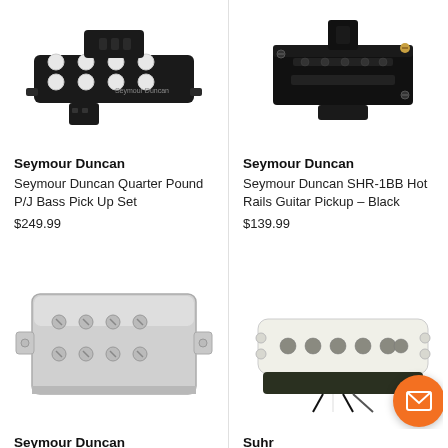[Figure (photo): Seymour Duncan Quarter Pound P/J Bass Pick Up Set - black bass guitar pickup with white pole pieces and Seymour Duncan branding]
Seymour Duncan
Seymour Duncan Quarter Pound P/J Bass Pick Up Set
$249.99
[Figure (photo): Seymour Duncan SHR-1BB Hot Rails Guitar Pickup - Black - black rectangular guitar pickup with adjustment screws]
Seymour Duncan
Seymour Duncan SHR-1BB Hot Rails Guitar Pickup - Black
$139.99
[Figure (photo): Seymour Duncan chrome humbucker guitar pickup with nickel cover and visible pole pieces/adjustment screws]
Seymour Duncan
[Figure (photo): Suhr white single-coil guitar pickup with grey pole pieces, viewed from above]
Suhr